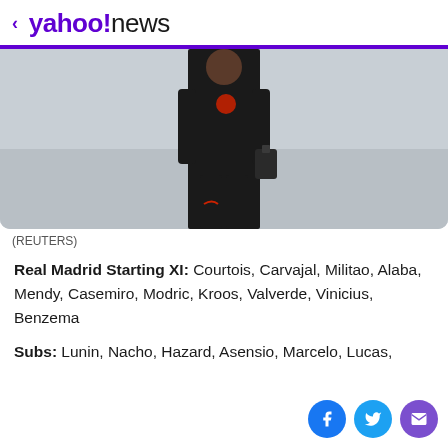< yahoo!news
[Figure (photo): A person wearing a black Liverpool FC training tracksuit carrying a bag, photographed outdoors on a light grey surface.]
(REUTERS)
Real Madrid Starting XI: Courtois, Carvajal, Militao, Alaba, Mendy, Casemiro, Modric, Kroos, Valverde, Vinicius, Benzema
Subs: Lunin, Nacho, Hazard, Asensio, Marcelo, Lucas,